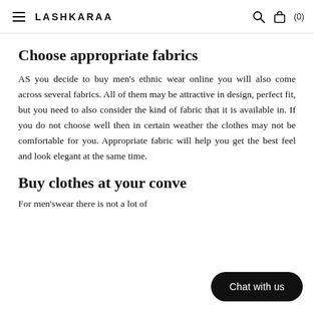LASHKARAA  (0)
Choose appropriate fabrics
AS you decide to buy men's ethnic wear online you will also come across several fabrics. All of them may be attractive in design, perfect fit, but you need to also consider the kind of fabric that it is available in. If you do not choose well then in certain weather the clothes may not be comfortable for you. Appropriate fabric will help you get the best feel and look elegant at the same time.
Buy clothes at your conve...
For men'swear there is not a lot of
[Figure (other): Chat with us button overlay in bottom right corner]